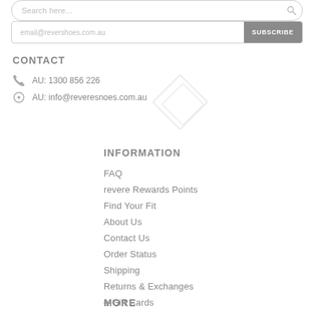[Figure (screenshot): Search input box with rounded border and magnifying glass icon]
[Figure (screenshot): Email input field with SUBSCRIBE button on the right side, grey button]
CONTACT
AU: 1300 856 226
AU: info@reveresnoes.com.au
[Figure (logo): Revere Shoes diamond/rhombus watermark logo in light grey]
INFORMATION
FAQ
revere Rewards Points
Find Your Fit
About Us
Contact Us
Order Status
Shipping
Returns & Exchanges
e-Gift Cards
MORE